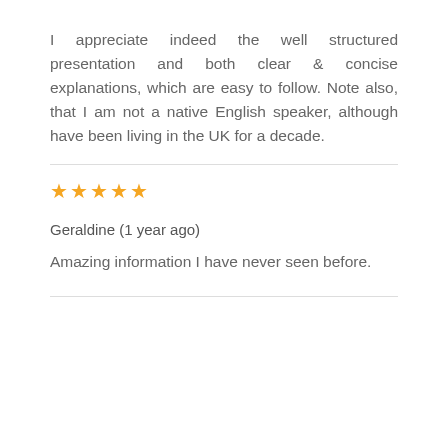I appreciate indeed the well structured presentation and both clear & concise explanations, which are easy to follow. Note also, that I am not a native English speaker, although have been living in the UK for a decade.
*****
Geraldine (1 year ago)
Amazing information I have never seen before.